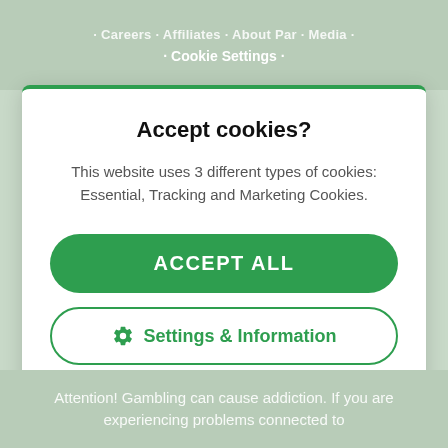Careers · Affiliates · About Par · Media · Cookie Settings
Accept cookies?
This website uses 3 different types of cookies: Essential, Tracking and Marketing Cookies.
ACCEPT ALL
⚙ Settings & Information
Attention! Gambling can cause addiction. If you are experiencing problems connected to